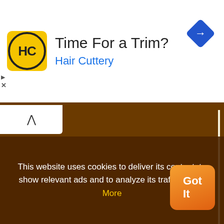[Figure (screenshot): Hair Cuttery ad banner: yellow HC logo, 'Time For a Trim?' headline, 'Hair Cuttery' subtitle in blue, blue navigation diamond icon on right]
[Figure (screenshot): Brown background with scroll-up button, book page separators, teal advertisement panel showing 'Emergency A... save lives.' text, Learn More button, Federation for Intern... logo with orange flag icon]
This website uses cookies to deliver its content, to show relevant ads and to analyze its traffic. Learn More
[Figure (screenshot): Overlapping popup text partially visible: 'often happens that scientists say, You know that's a really']
[Figure (photo): Person thumbnail/avatar image]
[Figure (screenshot): Orange 'Got It' button]